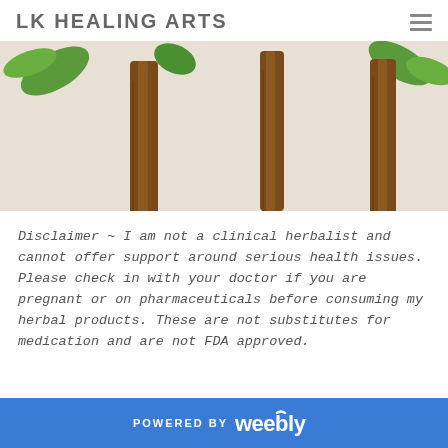LK HEALING ARTS
[Figure (photo): Three vertical panels showing plant stems with brown and green coloring against a light background, partially cropped at top of page.]
Disclaimer ~ I am not a clinical herbalist and cannot offer support around serious health issues. Please check in with your doctor if you are pregnant or on pharmaceuticals before consuming my herbal products. These are not substitutes for medication and are not FDA approved.
POWERED BY weebly